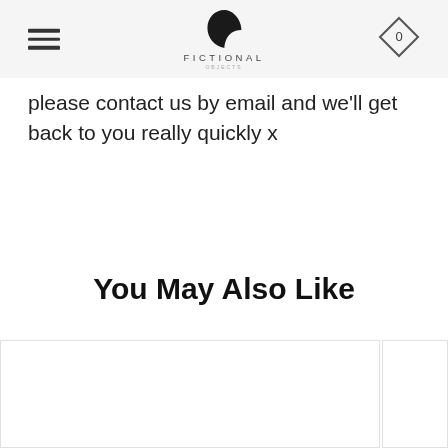FICTIONAL
please contact us by email and we'll get back to you really quickly x
You May Also Like